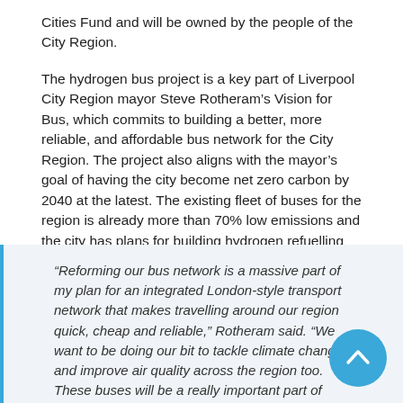Cities Fund and will be owned by the people of the City Region.
The hydrogen bus project is a key part of Liverpool City Region mayor Steve Rotheram’s Vision for Bus, which commits to building a better, more reliable, and affordable bus network for the City Region. The project also aligns with the mayor’s goal of having the city become net zero carbon by 2040 at the latest. The existing fleet of buses for the region is already more than 70% low emissions and the city has plans for building hydrogen refuelling facilities later this year.
“Reforming our bus network is a massive part of my plan for an integrated London-style transport network that makes travelling around our region quick, cheap and reliable,” Rotheram said. “We want to be doing our bit to tackle climate change and improve air quality across the region too. These buses will be a really important part of making that happen. Alongside the